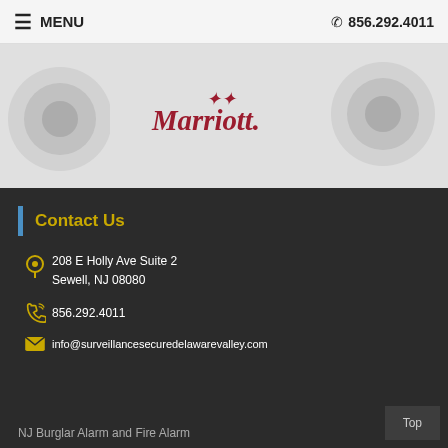≡ MENU   ☎ 856.292.4011
[Figure (logo): Marriott logo in red with bird icon, displayed on a light grey background with blurred security cameras on left and right sides]
Contact Us
208 E Holly Ave Suite 2
Sewell, NJ 08080
856.292.4011
info@surveillancesecuredelawarevalley.com
NJ Burglar Alarm and Fire Alarm